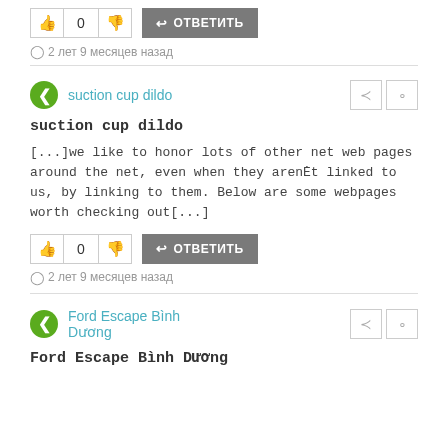vote buttons, 0, ОТВЕТИТЬ
2 лет 9 месяцев назад
suction cup dildo
suction cup dildo
[...]we like to honor lots of other net web pages around the net, even when they arenĖt linked to us, by linking to them. Below are some webpages worth checking out[...]
vote buttons, 0, ОТВЕТИТЬ
2 лет 9 месяцев назад
Ford Escape Bình Dương
Ford Escape Bình Dương